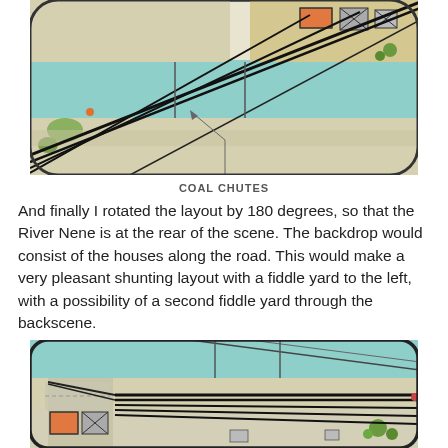[Figure (map): Top-down illustrated railway/track layout map showing rail lines, a river (teal/blue), buildings (orange, grey), green areas, road, and coal chutes annotation with arrow pointing to feature on the map.]
COAL CHUTES
And finally I rotated the layout by 180 degrees, so that the River Nene is at the rear of the scene.  The backdrop would consist of the houses along the road.  This would make a very pleasant shunting layout with a fiddle yard to the left, with a possibility of a second fiddle yard through the backscene.
[Figure (map): Bottom-down illustrated railway/track layout map (rotated 180 degrees from the top map) showing rail lines fanning out to the right, a river (teal/blue) at top, buildings (orange, grey) at bottom-left, green areas, and road at bottom.]